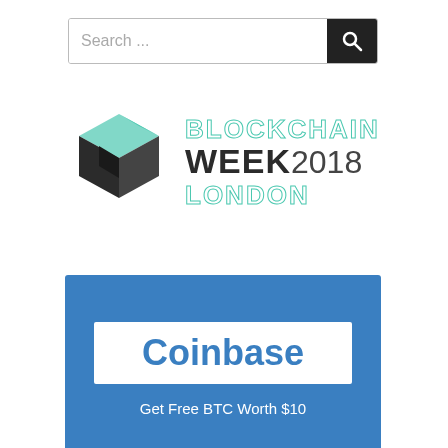[Figure (screenshot): Search bar with text 'Search ...' and a dark search button with magnifying glass icon]
[Figure (logo): Blockchain Week 2018 London logo: geometric 3D cube icon in dark grey and teal, with text 'BLOCKCHAIN WEEK2018 LONDON' in teal outline and dark grey bold]
[Figure (infographic): Coinbase advertisement banner on blue background: white rectangle with 'Coinbase' in bold blue text, tagline 'Get Free BTC Worth $10' in white below]